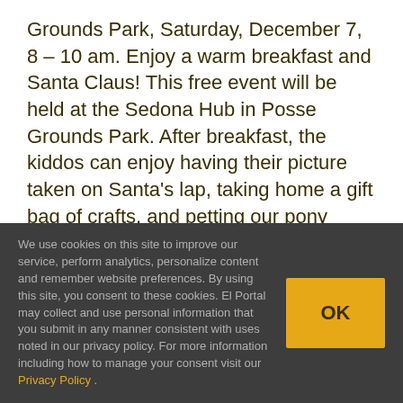Grounds Park, Saturday, December 7, 8 – 10 am. Enjoy a warm breakfast and Santa Claus! This free event will be held at the Sedona Hub in Posse Grounds Park. After breakfast, the kiddos can enjoy having their picture taken on Santa's lap, taking home a gift bag of crafts, and petting our pony reindeer. Come for the pancakes (and more), and stay to see Santa!
We use cookies on this site to improve our service, perform analytics, personalize content and remember website preferences. By using this site, you consent to these cookies. El Portal may collect and use personal information that you submit in any manner consistent with uses noted in our privacy policy. For more information including how to manage your consent visit our Privacy Policy .